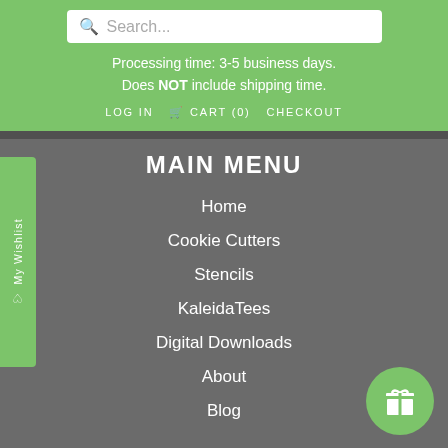Search...
Processing time: 3-5 business days.
Does NOT include shipping time.
LOG IN  CART (0)  CHECKOUT
MAIN MENU
Home
Cookie Cutters
Stencils
KaleidaTees
Digital Downloads
About
Blog